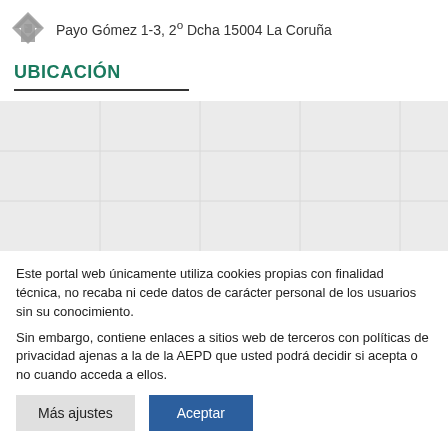Payo Gómez 1-3, 2º Dcha 15004 La Coruña
UBICACIÓN
[Figure (map): Map placeholder area showing location, grayed out background]
Este portal web únicamente utiliza cookies propias con finalidad técnica, no recaba ni cede datos de carácter personal de los usuarios sin su conocimiento.
Sin embargo, contiene enlaces a sitios web de terceros con políticas de privacidad ajenas a la de la AEPD que usted podrá decidir si acepta o no cuando acceda a ellos.
Más ajustes | Aceptar